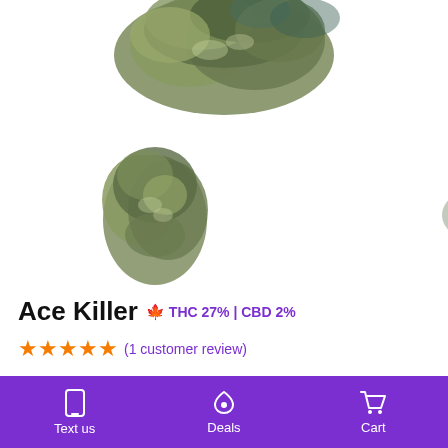[Figure (photo): Product photo of cannabis buds (Ace Killer strain) on white background — large bud at top center, medium bud at lower-left, small light-colored bud at lower-right]
Ace Killer 🍁 THC 27% | CBD 2%
★★★★★ (1 customer review)
From: $70.00
Weight   Choose an option
Text us   Deals   Cart